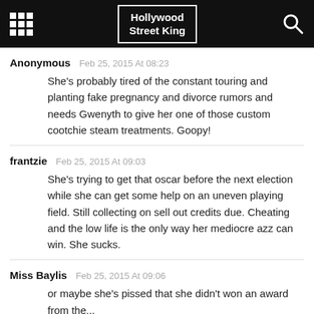Hollywood Street King
Anonymous   Feb 25, 2015 At 08:23
She's probably tired of the constant touring and planting fake pregnancy and divorce rumors and needs Gwenyth to give her one of those custom cootchie steam treatments. Goopy!
frantzie   Feb 25, 2015 At 09:03
She's trying to get that oscar before the next election while she can get some help on an uneven playing field. Still collecting on sell out credits due. Cheating and the low life is the only way her mediocre azz can win. She sucks.
Miss Baylis   Feb 25, 2015 At 09:06
or maybe she's pissed that she didn't won an award from the...